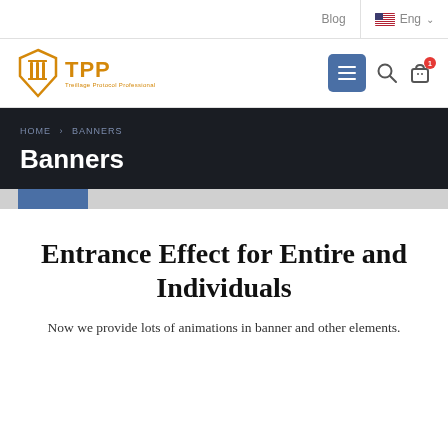Blog   Eng
[Figure (logo): TPP shield logo with golden text 'TPP' and small subtitle text below]
HOME > BANNERS
Banners
Entrance Effect for Entire and Individuals
Now we provide lots of animations in banner and other elements.